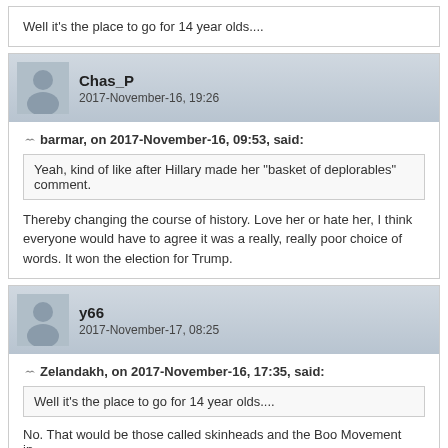Well it's the place to go for 14 year olds....
Chas_P
2017-November-16, 19:26
barmar, on 2017-November-16, 09:53, said:
Yeah, kind of like after Hillary made her "basket of deplorables" comment.
Thereby changing the course of history. Love her or hate her, I think everyone would have to agree it was a really, really poor choice of words. It won the election for Trump.
y66
2017-November-17, 08:25
Zelandakh, on 2017-November-16, 17:35, said:
Well it's the place to go for 14 year olds....
No. That would be those called skinheads and the Boo Movement in...